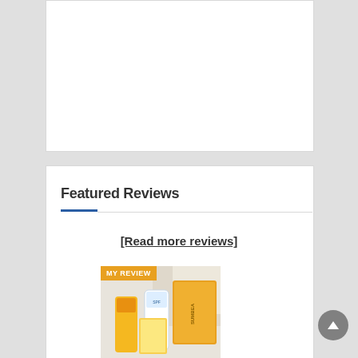[Figure (other): Top white card area, mostly blank/empty content area]
Featured Reviews
[Read more reviews]
[Figure (photo): Product image showing skincare/sunscreen products (Suntria/Sunblock brand) with yellow packaging, tubes and packets, overlaid with an orange 'MY REVIEW' badge in the top-left corner]